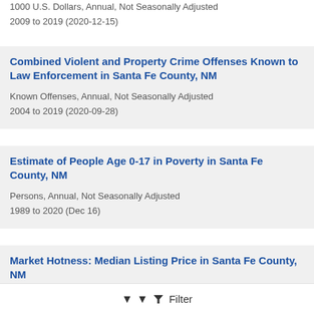1000 U.S. Dollars, Annual, Not Seasonally Adjusted
2009 to 2019 (2020-12-15)
Combined Violent and Property Crime Offenses Known to Law Enforcement in Santa Fe County, NM
Known Offenses, Annual, Not Seasonally Adjusted
2004 to 2019 (2020-09-28)
Estimate of People Age 0-17 in Poverty in Santa Fe County, NM
Persons, Annual, Not Seasonally Adjusted
1989 to 2020 (Dec 16)
Market Hotness: Median Listing Price in Santa Fe County, NM
Filter